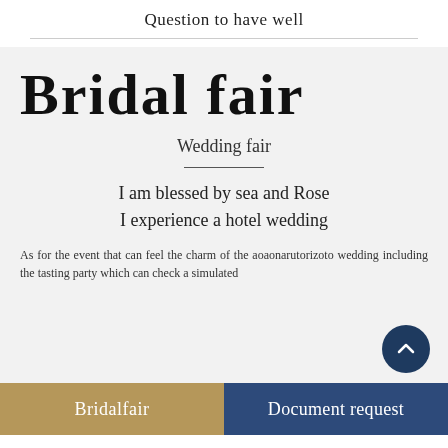Question to have well
BRIDAL FAIR
Wedding fair
I am blessed by sea and Rose
I experience a hotel wedding
As for the event that can feel the charm of the aoaonarutorizoto wedding including the tasting party which can check a simulated
Bridalfair
Document request